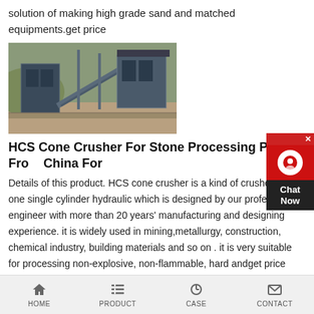solution of making high grade sand and matched equipments.get price
[Figure (photo): Outdoor mining/stone processing plant with large industrial machinery, conveyor belts and steel framework structures on a hillside]
HCS Cone Crusher For Stone Processing Plant From China For
Details of this product. HCS cone crusher is a kind of crusher with one single cylinder hydraulic which is designed by our professional engineer with more than 20 years' manufacturing and designing experience. it is widely used in mining,metallurgy, construction, chemical industry, building materials and so on . it is very suitable for processing non-explosive, non-flammable, hard andget price
[Figure (photo): Indoor industrial facility with overhead crane and machinery, partial view]
HOME   PRODUCT   CASE   CONTACT